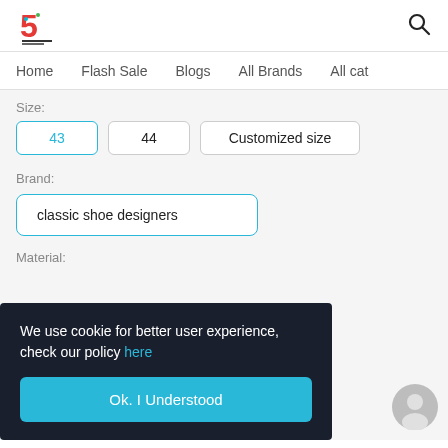Logo and search icon header
Home   Flash Sale   Blogs   All Brands   All cat
Size:
43 (selected), 44, Customized size
Brand:
classic shoe designers
Material:
We use cookie for better user experience, check our policy here
Ok. I Understood